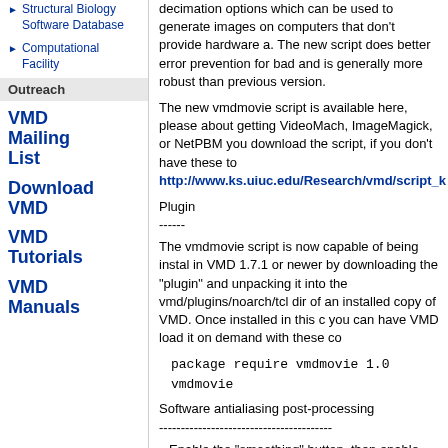Structural Biology Software Database
Computational Facility
Outreach
VMD Mailing List
Download VMD
VMD Tutorials
VMD Manuals
decimation options which can be used to generate images on computers that don't provide hardware a. The new script does better error prevention for bad and is generally more robust than previous version.
The new vmdmovie script is available here, please about getting VideoMach, ImageMagick, or NetPBM you download the script, if you don't have these to http://www.ks.uiuc.edu/Research/vmd/script_k
Plugin
------
The vmdmovie script is now capable of being installed in VMD 1.7.1 or newer by downloading the "plugin" and unpacking it into the vmd/plugins/noarch/tcl dir of an installed copy of VMD. Once installed in this c you can have VMD load it on demand with these co
package require vmdmovie 1.0
vmdmovie
Software antialiasing post-processing
----------------------------------------
Enable the "smoothing" button, then enable the ha button, then make your VMD window twice the siz you want the final movie to be, then render the mo
If you have questions about using the new vmdmo please let us know.
Thanks